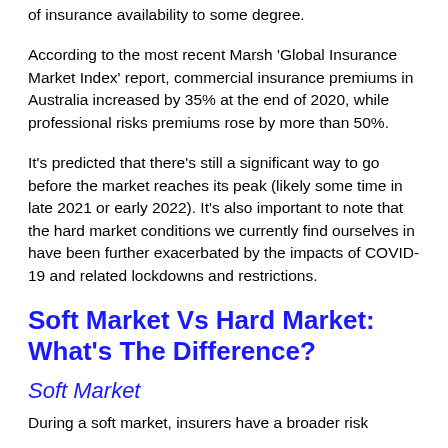of insurance availability to some degree.
According to the most recent Marsh ‘Global Insurance Market Index’ report, commercial insurance premiums in Australia increased by 35% at the end of 2020, while professional risks premiums rose by more than 50%.
It’s predicted that there’s still a significant way to go before the market reaches its peak (likely some time in late 2021 or early 2022). It’s also important to note that the hard market conditions we currently find ourselves in have been further exacerbated by the impacts of COVID-19 and related lockdowns and restrictions.
Soft Market Vs Hard Market: What’s The Difference?
Soft Market
During a soft market, insurers have a broader risk